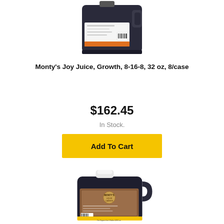[Figure (photo): Monty's Joy Juice Growth liquid fertilizer bottle, dark plastic jug with label, shown from front, cropped at top of page]
Monty's Joy Juice, Growth, 8-16-8, 32 oz, 8/case
$162.45
In Stock.
Add To Cart
[Figure (photo): Monty's Joy Juice Liquid Carbon fertilizer large jug (1 gallon size), white cap, handle, dark liquid, brown label with Monty's branding, shown from front]